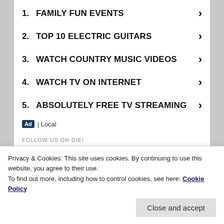1. FAMILY FUN EVENTS
2. TOP 10 ELECTRIC GUITARS
3. WATCH COUNTRY MUSIC VIDEOS
4. WATCH TV ON INTERNET
5. ABSOLUTELY FREE TV STREAMING
Ad | Local
FOLLOW US OR DIE!
[Figure (infographic): Row of social media icons: Facebook, Twitter, Instagram, Snapchat, YouTube, RSS]
Privacy & Cookies: This site uses cookies. By continuing to use this website, you agree to their use.
To find out more, including how to control cookies, see here: Cookie Policy